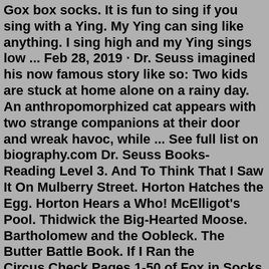Gox box socks. It is fun to sing if you sing with a Ying. My Ying can sing like anything. I sing high and my Ying sings low ... Feb 28, 2019 · Dr. Seuss imagined his now famous story like so: Two kids are stuck at home alone on a rainy day. An anthropomorphized cat appears with two strange companions at their door and wreak havoc, while ... See full list on biography.com Dr. Seuss Books- Reading Level 3. And To Think That I Saw It On Mulberry Street. Horton Hatches the Egg. Horton Hears a Who! McElligot's Pool. Thidwick the Big-Hearted Moose. Bartholomew and the Oobleck. The Butter Battle Book. If I Ran the Circus.Check Pages 1-50 of Fox in Socks by Dr. Seuss in the flip PDF version. Fox in Socks by Dr. Seuss was published by My Digital Library on 2021-02-22. Find more similar flip PDFs like Fox in Socks by Dr. Seuss. Download Fox in Socks by Dr. Seuss PDF for free.Whoville (alternatively spelled Who-ville) is the central location of "How the Grinch Stole Christmas!" and "Horton Hears a Who!" -- The Grinch lives high above them